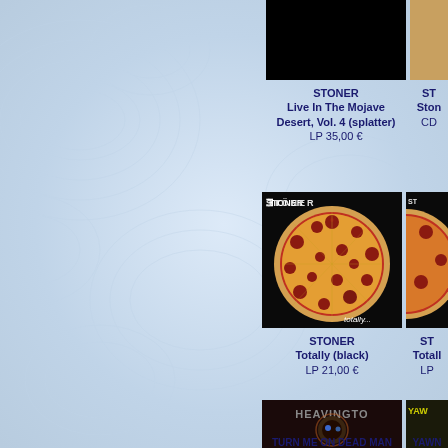[Figure (photo): Album cover for STONER - Live In The Mojave Desert Vol. 4, black background]
STONER
Live In The Mojave Desert, Vol. 4 (splatter)
LP 35,00 €
[Figure (photo): Partially visible album cover on the right side]
ST...
Ston...
CD ...
[Figure (photo): Album cover for STONER - Totally (black), showing a pepperoni pizza on black background with STONER logo and totally... text]
STONER
Totally (black)
LP 21,00 €
[Figure (photo): Partially visible album cover on right side, same pizza image]
ST...
Totall...
LP ...
[Figure (photo): Album cover for TURN ME ON DEAD MAN - heavy metal horror themed artwork with cosmic imagery]
TURN ME ON DEAD MAN
[Figure (photo): Partially visible album cover on right side - YAWN]
YAWN...